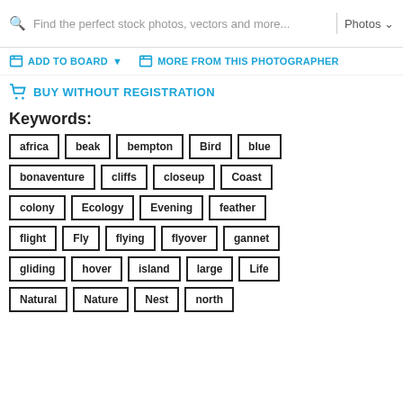Find the perfect stock photos, vectors and more...   Photos
ADD TO BOARD   MORE FROM THIS PHOTOGRAPHER
BUY WITHOUT REGISTRATION
Keywords:
africa
beak
bempton
Bird
blue
bonaventure
cliffs
closeup
Coast
colony
Ecology
Evening
feather
flight
Fly
flying
flyover
gannet
gliding
hover
island
large
Life
Natural
Nature
Nest
north